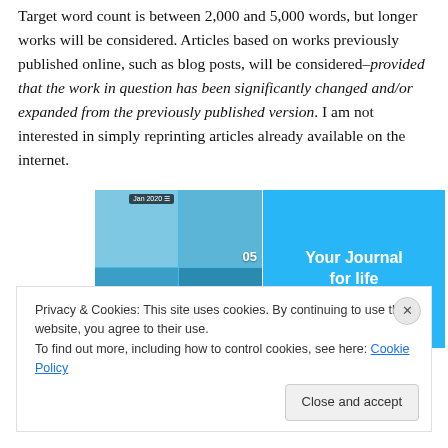Target word count is between 2,000 and 5,000 words, but longer works will be considered. Articles based on works previously published online, such as blog posts, will be considered–provided that the work in question has been significantly changed and/or expanded from the previously published version. I am not interested in simply reprinting articles already available on the internet.
[Figure (screenshot): App screenshot showing a journal/diary app interface with photo grid on the left and 'Your Journal for life' text on blue background on the right]
Privacy & Cookies: This site uses cookies. By continuing to use this website, you agree to their use. To find out more, including how to control cookies, see here: Cookie Policy